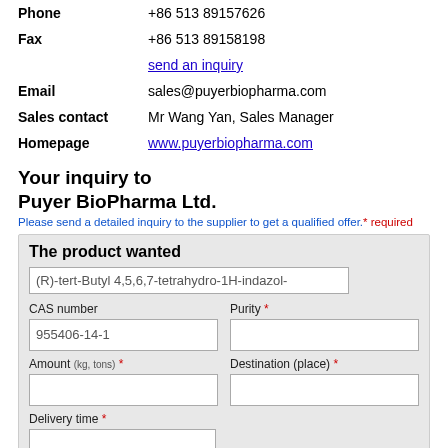Phone   +86 513 89157626
Fax   +86 513 89158198
send an inquiry
Email   sales@puyerbiopharma.com
Sales contact   Mr Wang Yan, Sales Manager
Homepage   www.puyerbiopharma.com
Your inquiry to Puyer BioPharma Ltd.
Please send a detailed inquiry to the supplier to get a qualified offer.* required
The product wanted
(R)-tert-Butyl 4,5,6,7-tetrahydro-1H-indazol-
CAS number: 955406-14-1
Purity *
Amount (kg, tons) *
Destination (place) *
Delivery time *
Input packaging wanted, or payment terms and other